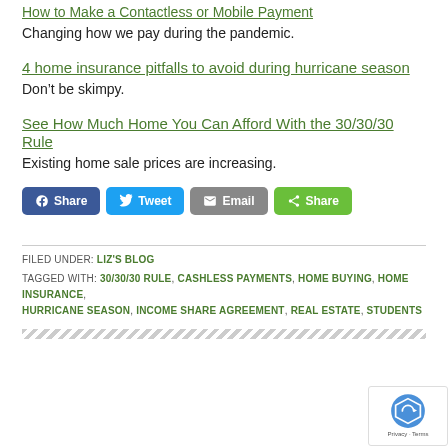How to Make a Contactless or Mobile Payment
Changing how we pay during the pandemic.
4 home insurance pitfalls to avoid during hurricane season
Don't be skimpy.
See How Much Home You Can Afford With the 30/30/30 Rule
Existing home sale prices are increasing.
[Figure (other): Social sharing buttons: Facebook Share, Tweet, Email, Share]
FILED UNDER: LIZ'S BLOG
TAGGED WITH: 30/30/30 RULE, CASHLESS PAYMENTS, HOME BUYING, HOME INSURANCE, HURRICANE SEASON, INCOME SHARE AGREEMENT, REAL ESTATE, STUDENTS